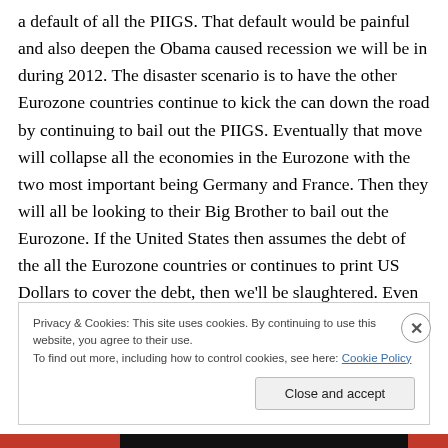a default of all the PIIGS. That default would be painful and also deepen the Obama caused recession we will be in during 2012. The disaster scenario is to have the other Eurozone countries continue to kick the can down the road by continuing to bail out the PIIGS. Eventually that move will collapse all the economies in the Eurozone with the two most important being Germany and France. Then they will all be looking to their Big Brother to bail out the Eurozone. If the United States then assumes the debt of the all the Eurozone countries or continues to print US Dollars to cover the debt, then we'll be slaughtered. Even
Privacy & Cookies: This site uses cookies. By continuing to use this website, you agree to their use.
To find out more, including how to control cookies, see here: Cookie Policy
Close and accept